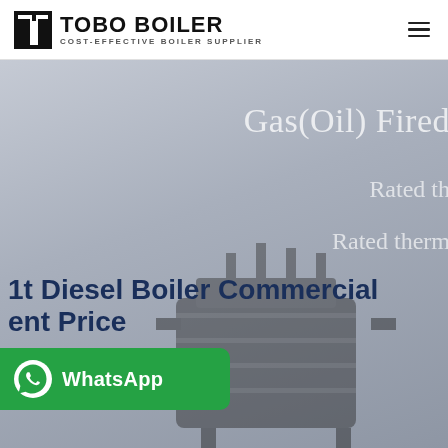[Figure (logo): TOBO BOILER logo with icon and text 'COST-EFFECTIVE BOILER SUPPLIER']
[Figure (photo): Hero banner background showing industrial boiler machinery in grey tones with overlaid text]
Gas(Oil) Fired
Rated th
Rated therm
1t Diesel Boiler Commercial ent Price
[Figure (other): WhatsApp contact button with green background, WhatsApp icon, and 'WhatsApp' label]